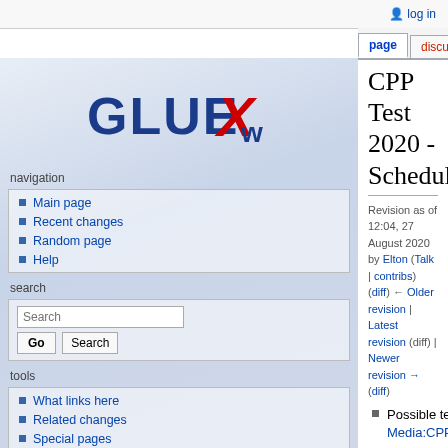log in
page | discussion | view source | history
[Figure (logo): GlueX logo with stylized blue and red X on white/gray gradient background]
navigation
Main page
Recent changes
Random page
Help
search
tools
What links here
Related changes
Special pages
Printable version
Permanent link
CPP Test 2020 - Schedule
Revision as of 12:04, 27 August 2020 by Elton (Talk | contribs)
(diff) ← Older revision | Latest revision (diff) | Newer revision → (diff)
Possible test schedule by Tim Media:CPP_Tests_Aug2020.pdf
Nominal GlueX configuration
No Pb shielding
DIRC installed
Solenoid field at 1350 A
Radiator Diamond JD70-105 47 um, Peak at 8.6 GeV
CPP Test Configuration
With and without Pb shielding
DIRC removed
Solenoid field at 1350 A (no change)
Radiator Diamond JD70-105 47 um, Peak